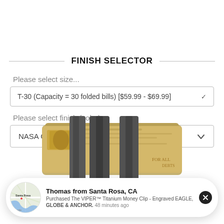FINISH SELECTOR
Please select size...
T-30 (Capacity = 30 folded bills) [$59.99 - $69.99]
Please select finish (color)...
NASA Optical Gray $59.99
[Figure (photo): Product photo of a titanium money clip holding folded US dollar bills, shown from above. The clip is dark gray/gunmetal colored.]
Thomas from Santa Rosa, CA
Purchased The VIPER™ Titanium Money Clip - Engraved EAGLE, GLOBE & ANCHOR. 48 minutes ago